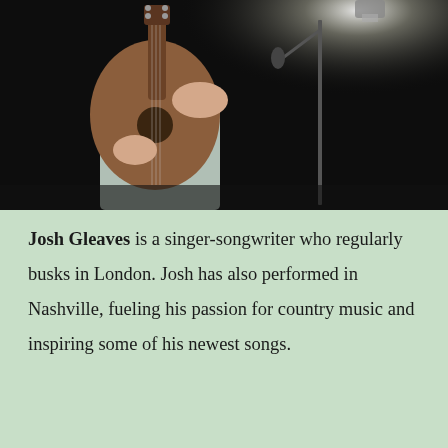[Figure (photo): A person playing an acoustic guitar on stage, wearing light grey pants. A microphone stand is visible to the right. Stage lighting illuminates from the upper right. Dark background.]
Josh Gleaves is a singer-songwriter who regularly busks in London. Josh has also performed in Nashville, fueling his passion for country music and inspiring some of his newest songs.